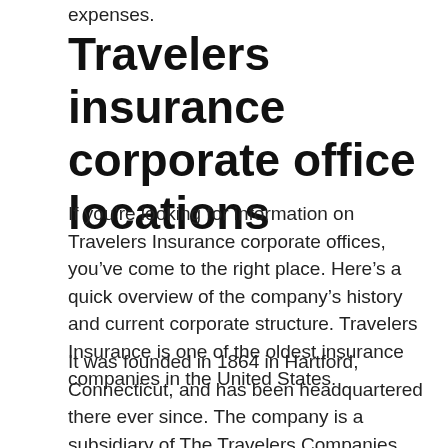expenses.
Travelers insurance corporate office locations
If you’re looking for information on Travelers Insurance corporate offices, you’ve come to the right place. Here’s a quick overview of the company’s history and current corporate structure. Travelers Insurance is one of the oldest insurance companies in the United States.
It was founded in 1864 in Hartford, Connecticut, and has been headquartered there ever since. The company is a subsidiary of The Travelers Companies, Inc., which also includes several other insurance